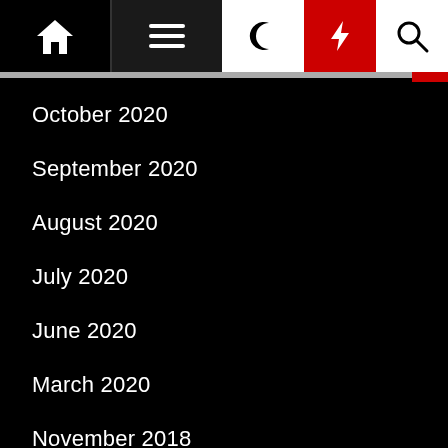Navigation bar with home, menu, moon, bolt, search icons
October 2020
September 2020
August 2020
July 2020
June 2020
March 2020
November 2018
October 2018
January 2017